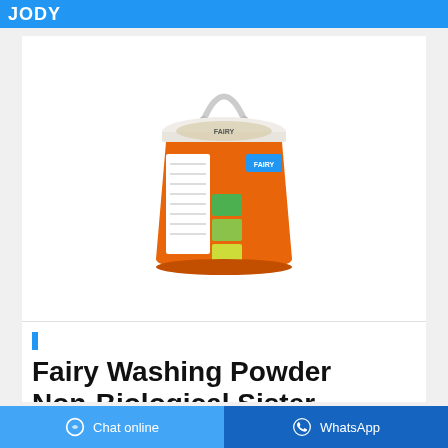JODY
[Figure (photo): Orange and white plastic bucket of Fairy Washing Powder Non-Biological with a white handle, product label visible on side showing product imagery]
Fairy Washing Powder Non-Biological Siste...
Chat online   WhatsApp